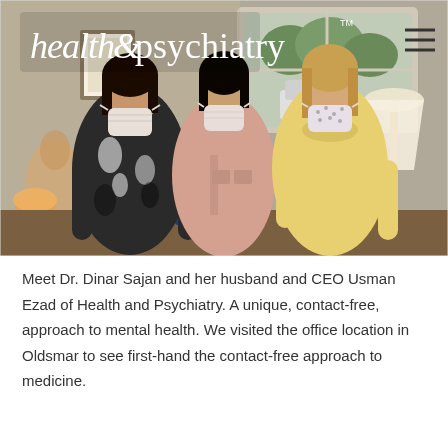[Figure (photo): Three women wearing face masks standing together inside a medical office. The woman on the left wears a black and white patterned blouse, the woman in the middle wears a pink shirt, and the woman on the right wears a yellow sweater. A window with a view of trees and a parked car is visible in the background. The Health & Psychiatry logo is overlaid in the top-left corner of the image.]
Meet Dr. Dinar Sajan and her husband and CEO Usman Ezad of Health and Psychiatry. A unique, contact-free, approach to mental health. We visited the office location in Oldsmar to see first-hand the contact-free approach to medicine.